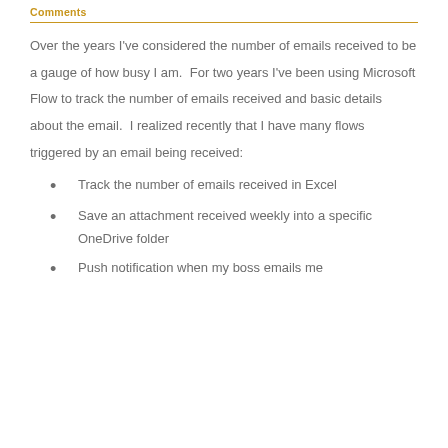Comments
Over the years I've considered the number of emails received to be a gauge of how busy I am.  For two years I've been using Microsoft Flow to track the number of emails received and basic details about the email.  I realized recently that I have many flows triggered by an email being received:
Track the number of emails received in Excel
Save an attachment received weekly into a specific OneDrive folder
Push notification when my boss emails me